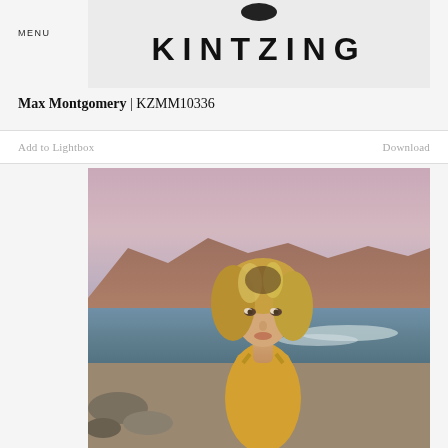MENU
[Figure (logo): Kintzing logo banner with stylized text KINTZING and small object above]
Max Montgomery | KZMM10336
Add to Lightbox
Download
[Figure (photo): Young blonde woman in a yellow top at the beach, looking at camera, ocean waves and mountains in background, warm sunset light]